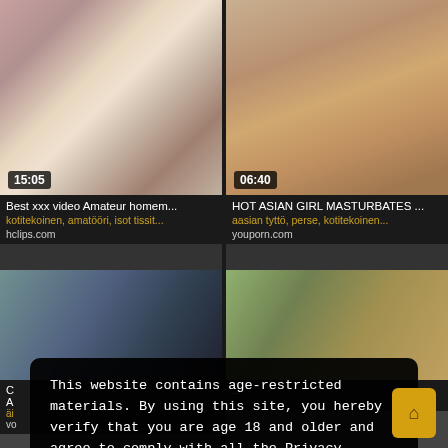[Figure (screenshot): Video thumbnail left top: amateur video with duration badge 15:05]
[Figure (screenshot): Video thumbnail right top: Asian girl video with duration badge 06:40]
Best xxx video Amateur homem...
kotitekoinen, amatööri, isot tissit...
hclips.com
HOT ASIAN GIRL MASTURBATES ...
aasian tyttö, perse, kotitekoinen...
youporn.com
[Figure (screenshot): Video thumbnail bottom left, partially obscured by cookie overlay]
[Figure (screenshot): Video thumbnail bottom right, partially obscured by cookie overlay]
This website contains age-restricted materials. By using this site, you hereby verify that you are age 18 and older and agree to comply with all the Privacy Policy.
We use cookies to provide you the best possible experience on our website and to monitor website traffic. Cookies Policy.